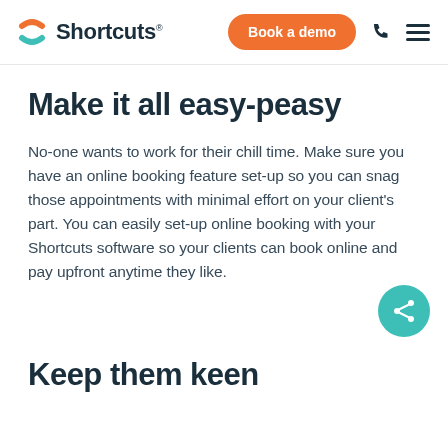Shortcuts — Book a demo
Make it all easy-peasy
No-one wants to work for their chill time. Make sure you have an online booking feature set-up so you can snag those appointments with minimal effort on your client's part. You can easily set-up online booking with your Shortcuts software so your clients can book online and pay upfront anytime they like.
Keep them keen